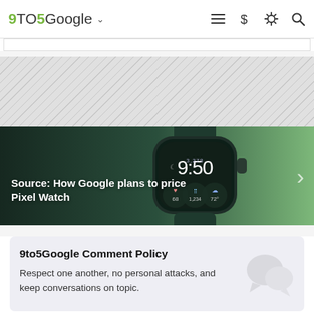9to5Google
[Figure (screenshot): Advertisement placeholder area with white box and light grey diagonal hatched pattern below]
[Figure (photo): Dark green featured article banner showing a Pixel Watch close-up with digital watch face displaying 9:50, steps and weather complications. Title overlay reads: Source: How Google plans to price Pixel Watch]
9to5Google Comment Policy
Respect one another, no personal attacks, and keep conversations on topic.